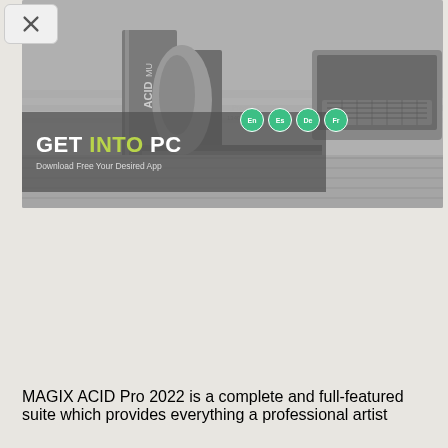[Figure (screenshot): A screenshot of a software/website page for ACID Music Studio / MAGIX product showing a black and white photo of a laptop, books, and desk accessories. A 'GET INTO PC' overlay banner appears in the lower-left of the image with subtitle 'Download Free Your Desired App'. Language badges for EN, ES, DE, FR are visible. A close (X) button appears in the top-left corner.]
MAGIX ACID Pro 2022 is a complete and full-featured suite which provides everything a professional artist